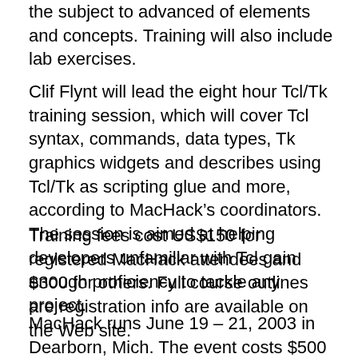the subject to advanced of elements and concepts. Training will also include lab exercises.
Clif Flynt will lead the eight hour Tcl/Tk training session, which will cover Tcl syntax, commands, data types, Tk graphics widgets and describes using Tcl/Tk as scripting glue and more, according to MacHack’s coordinators. The session is aimed at helping developers unfamiliar with Tcl gain enough proficiency to tackle any project.
Training fees cost US$150 for registered MacHack attendees and $300 for others. Full course outlines are registration info are available on the Web site.
MacHack runs June 19 – 21, 2003 in Dearborn, Mich. The event costs $500 to register ($550 after April 15, 2003), including all access to events, three